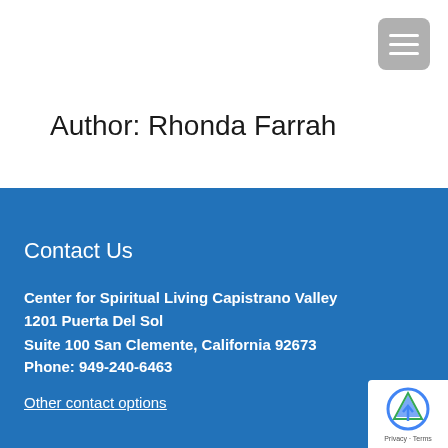Author: Rhonda Farrah
Contact Us
Center for Spiritual Living Capistrano Valley
1201 Puerta Del Sol
Suite 100 San Clemente, California 92673
Phone: 949-240-6463
Other contact options
[Figure (logo): reCAPTCHA badge with Privacy and Terms links]